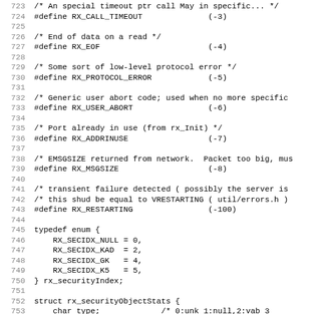Source code listing showing C preprocessor defines and typedef enum for RX error codes and security index, lines 723-755
[Figure (screenshot): C source code snippet showing #define constants for RX error codes (RX_CALL_TIMEOUT, RX_EOF, RX_PROTOCOL_ERROR, RX_USER_ABORT, RX_ADDRINUSE, RX_MSGSIZE, RX_RESTARTING) and a typedef enum for rx_securityIndex with values RX_SECIDX_NULL=0, RX_SECIDX_KAD=2, RX_SECIDX_GK=4, RX_SECIDX_K5=5, followed by struct rx_securityObjectStats definition.]